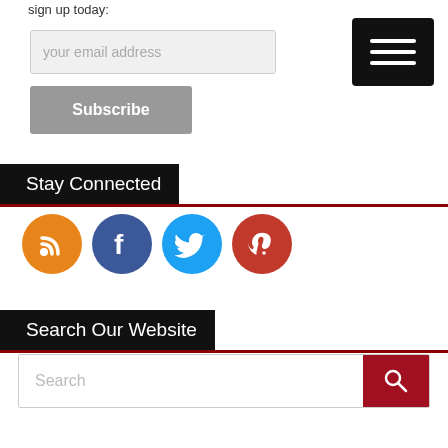sign up today:
[Figure (screenshot): Email subscription input field with placeholder 'your email address']
[Figure (screenshot): Gray Subscribe button]
[Figure (screenshot): Black hamburger menu button with three white lines]
Stay Connected
[Figure (infographic): Four social media icons: RSS (orange), Facebook (blue), Twitter (light blue), Pinterest (red)]
Search Our Website
[Figure (screenshot): Search input bar with placeholder 'Search' and red search button with magnifier icon]